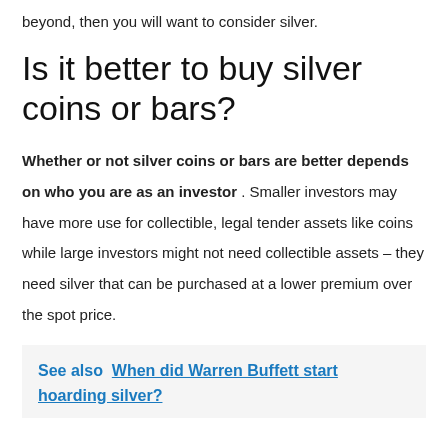beyond, then you will want to consider silver.
Is it better to buy silver coins or bars?
Whether or not silver coins or bars are better depends on who you are as an investor . Smaller investors may have more use for collectible, legal tender assets like coins while large investors might not need collectible assets – they need silver that can be purchased at a lower premium over the spot price.
See also  When did Warren Buffett start hoarding silver?